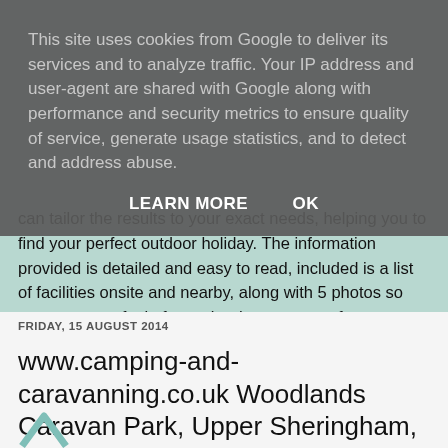This site uses cookies from Google to deliver its services and to analyze traffic. Your IP address and user-agent are shared with Google along with performance and security metrics to ensure quality of service, generate usage statistics, and to detect and address abuse.
LEARN MORE   OK
can tailor the results to your exact needs, helping you to find your perfect outdoor holiday. The information provided is detailed and easy to read, included is a list of facilities onsite and nearby, along with 5 photos so you can get a feel of exactly what to expect from your camping or caravanning holiday.
FRIDAY, 15 AUGUST 2014
www.camping-and-caravanning.co.uk Woodlands Caravan Park, Upper Sheringham, Norfolk